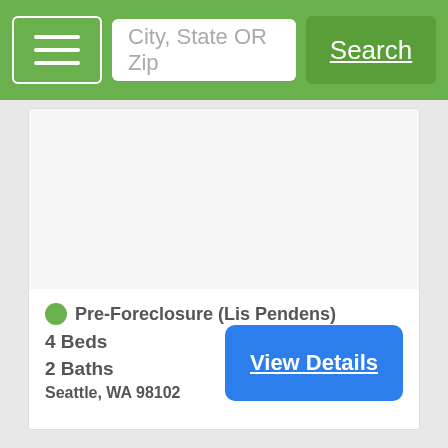City, State OR Zip  Search
[Figure (photo): White/blank property image area]
Pre-Foreclosure (Lis Pendens)
4 Beds
2 Baths
Seattle, WA 98102
View Details